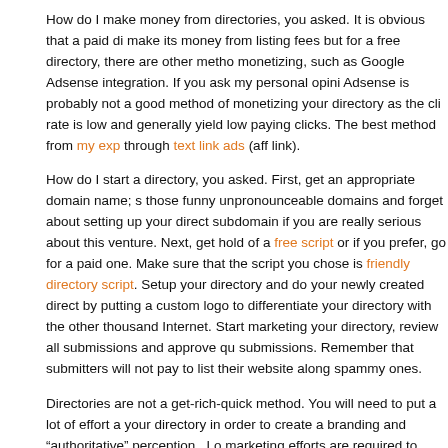How do I make money from directories, you asked. It is obvious that a paid directory make its money from listing fees but for a free directory, there are other methods of monetizing, such as Google Adsense integration. If you ask my personal opinion, Adsense is probably not a good method of monetizing your directory as the click rate is low and generally yield low paying clicks. The best method from my experience is through text link ads (aff link).
How do I start a directory, you asked. First, get an appropriate domain name; skip those funny unpronounceable domains and forget about setting up your directory in a subdomain if you are really serious about this venture. Next, get hold of a free directory script or if you prefer, go for a paid one. Make sure that the script you chose is a SEO friendly directory script. Setup your directory and do your newly created directory proud by putting a custom logo to differentiate your directory with the other thousands on the Internet. Start marketing your directory, review all submissions and approve quality submissions. Remember that submitters will not pay to list their website alongside spammy ones.
Directories are not a get-rich-quick method. You will need to put a lot of effort at your directory in order to create a branding and "authoritative" perception. Lots of marketing efforts are required to build your directory and get ready to reinvest what you earn from listing fees into advertisements. Lastly, you will need lots of patience and discipline to diligently review submissions. [tags]free PHP directory script, directories, directory, web directory[/tags]